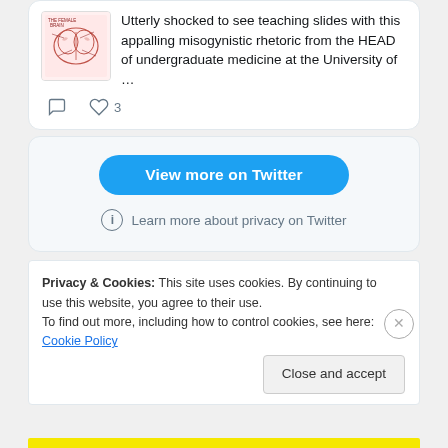[Figure (screenshot): Tweet screenshot showing a brain diagram image thumbnail and text: 'Utterly shocked to see teaching slides with this appalling misogynistic rhetoric from the HEAD of undergraduate medicine at the University of …']
3
View more on Twitter
Learn more about privacy on Twitter
Privacy & Cookies: This site uses cookies. By continuing to use this website, you agree to their use.
To find out more, including how to control cookies, see here: Cookie Policy
Close and accept